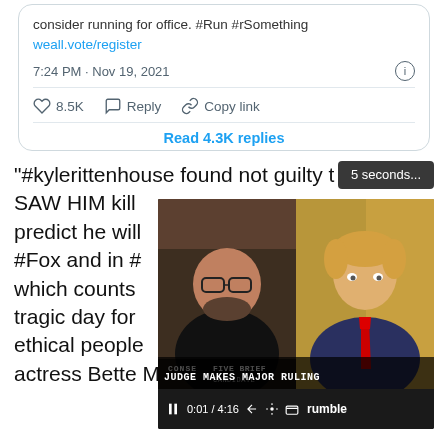consider running for office. #Run #rSomething weall.vote/register
7:24 PM · Nov 19, 2021
♡ 8.5K  Reply  Copy link
Read 4.3K replies
"#kylerittenhouse found not guilty t… SAW HIM kill … predict he will … #Fox and in #… which counts … tragic day for … ethical people… actress Bette Midler said.
[Figure (screenshot): Rumble video player showing two people split screen, with a lower bar reading JUDGE MAKES MAJOR RULING, timestamp 0:01 / 4:16, and a skip badge showing 5 seconds...]
bettemidler (verified)